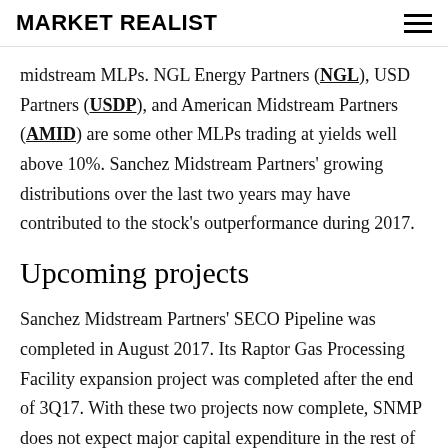MARKET REALIST
midstream MLPs. NGL Energy Partners (NGL), USD Partners (USDP), and American Midstream Partners (AMID) are some other MLPs trading at yields well above 10%. Sanchez Midstream Partners' growing distributions over the last two years may have contributed to the stock's outperformance during 2017.
Upcoming projects
Sanchez Midstream Partners' SECO Pipeline was completed in August 2017. Its Raptor Gas Processing Facility expansion project was completed after the end of 3Q17. With these two projects now complete, SNMP does not expect major capital expenditure in the rest of 2017. It